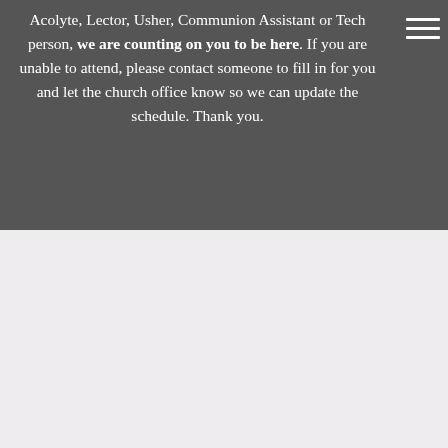Acolyte, Lector, Usher, Communion Assistant or Tech person, we are counting on you to be here. If you are unable to attend, please contact someone to fill in for you and let the church office know so we can update the schedule. Thank you.
[Figure (illustration): Illustrated card with the word ACOLYTES in large serif font at the top, below which are two illustrated children (a girl with blonde hair and a boy with dark hair) in church robes, each holding candles.]